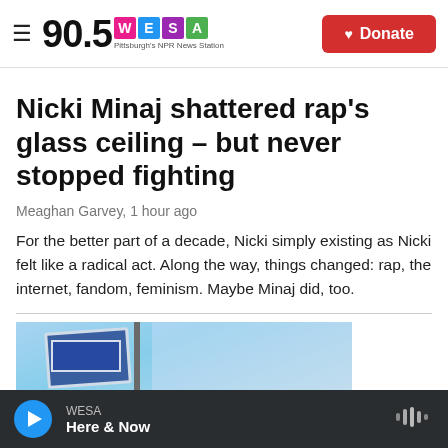90.5 WESA Pittsburgh's NPR News Station
Nicki Minaj shattered rap's glass ceiling – but never stopped fighting
Meaghan Garvey, 1 hour ago
For the better part of a decade, Nicki simply existing as Nicki felt like a radical act. Along the way, things changed: rap, the internet, fandom, feminism. Maybe Minaj did, too.
[Figure (photo): Partial photo of street signs against a blue sky]
WESA Here & Now